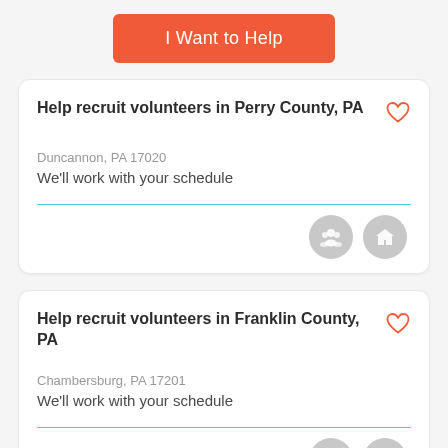I Want to Help
Help recruit volunteers in Perry County, PA
Duncannon, PA 17020
We'll work with your schedule
Help recruit volunteers in Franklin County, PA
Chambersburg, PA 17201
We'll work with your schedule